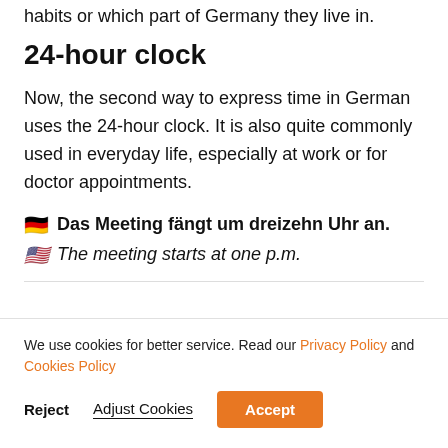habits or which part of Germany they live in.
24-hour clock
Now, the second way to express time in German uses the 24-hour clock. It is also quite commonly used in everyday life, especially at work or for doctor appointments.
🇩🇪 Das Meeting fängt um dreizehn Uhr an.
🇺🇸 The meeting starts at one p.m.
We use cookies for better service. Read our Privacy Policy and Cookies Policy
Reject | Adjust Cookies | Accept